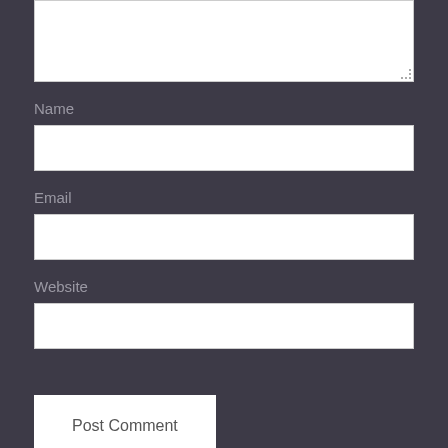[Figure (screenshot): Comment form textarea (partially visible at top)]
Name
[Figure (screenshot): Name input field (empty white text box)]
Email
[Figure (screenshot): Email input field (empty white text box)]
Website
[Figure (screenshot): Website input field (empty white text box)]
Post Comment
Notify me of new comments via email